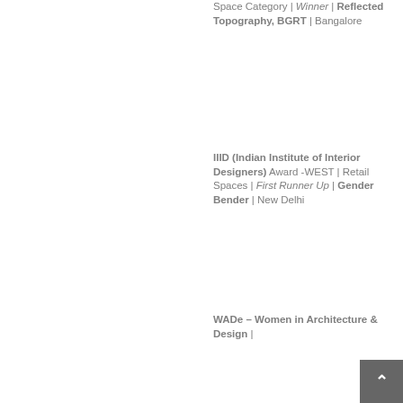Space Category | Winner | Reflected Topography, BGRT | Bangalore
IIID (Indian Institute of Interior Designers) Award -WEST | Retail Spaces | First Runner Up | Gender Bender | New Delhi
WADe – Women in Architecture & Design |